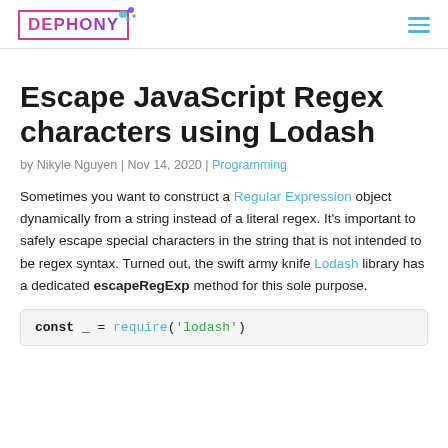DEPHONY
Escape JavaScript Regex characters using Lodash
by Nikyle Nguyen | Nov 14, 2020 | Programming
Sometimes you want to construct a Regular Expression object dynamically from a string instead of a literal regex. It's important to safely escape special characters in the string that is not intended to be regex syntax. Turned out, the swift army knife Lodash library has a dedicated escapeRegExp method for this sole purpose.
const _ = require('lodash')